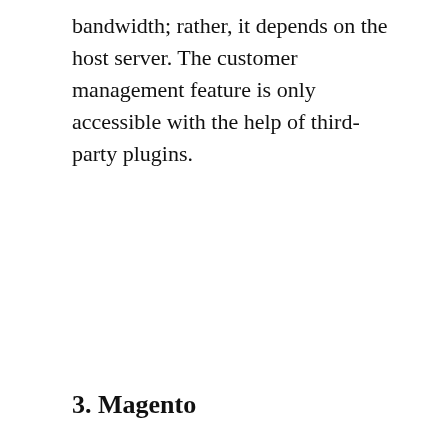bandwidth; rather, it depends on the host server. The customer management feature is only accessible with the help of third-party plugins.
3. Magento